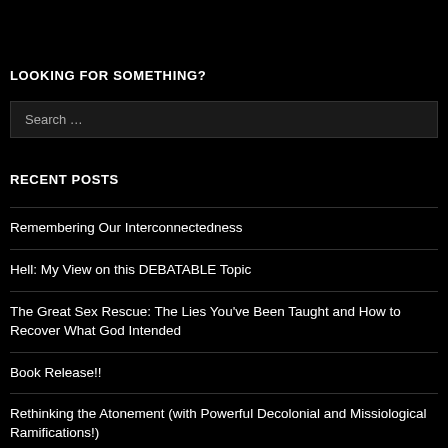LOOKING FOR SOMETHING?
[Figure (other): Search input box with placeholder text 'Search ...']
RECENT POSTS
Remembering Our Interconnectedness
Hell: My View on this DEBATABLE Topic
The Great Sex Rescue: The Lies You've Been Taught and How to Recover What God Intended
Book Release!!
Rethinking the Atonement (with Powerful Decolonial and Missiological Ramifications!)